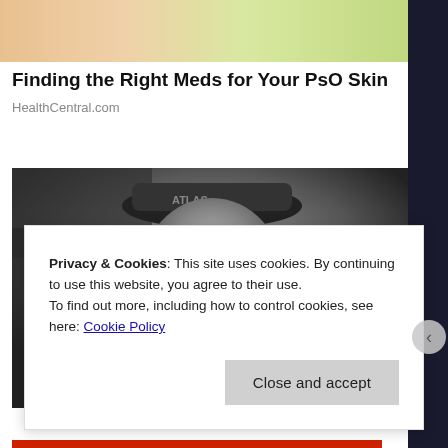[Figure (photo): Top image showing hands or skin with green/yellow background, partially visible, cropped]
Finding the Right Meds for Your PsO Skin
HealthCentral.com
[Figure (photo): Black and white photo of a smiling man wearing a baseball cap with 'ATLAS' text, dressed in a sports jersey]
Privacy & Cookies: This site uses cookies. By continuing to use this website, you agree to their use.
To find out more, including how to control cookies, see here: Cookie Policy
Close and accept